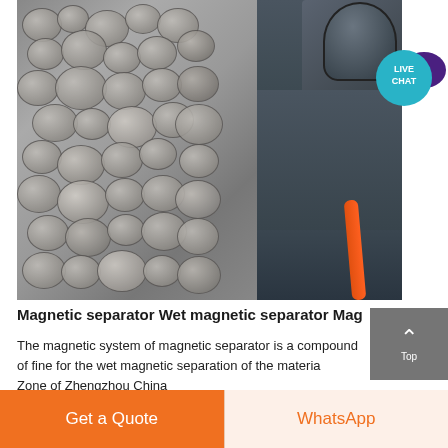[Figure (photo): Photo of a magnetic separator machine next to a stone wall. The left portion shows a rough stone/cobblestone wall surface. The right portion shows an industrial machine (vertical mill or magnetic separator) with grey metal body, cylindrical top, and orange cable.]
Magnetic separator Wet magnetic separator Mag
The magnetic system of magnetic separator is a compound of fine for the wet magnetic separation of the materia Zone of Zhengzhou China
[Figure (screenshot): Live Chat button overlay — teal circle with LIVE CHAT text and speech bubble icon in dark purple]
Get a Quote
WhatsApp